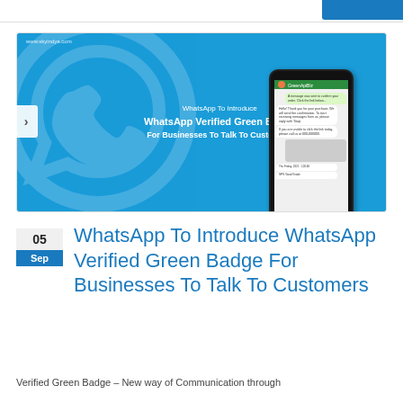[Figure (screenshot): WhatsApp promotional banner with blue background, WhatsApp logo watermark, text 'WhatsApp To Introduce WhatsApp Verified Green Badge For Businesses To Talk To Customers', and a phone mockup showing a WhatsApp conversation. URL www.skyindya.com shown top left. Navigation arrow on left side.]
WhatsApp To Introduce WhatsApp Verified Green Badge For Businesses To Talk To Customers
Verified Green Badge – New way of Communication through